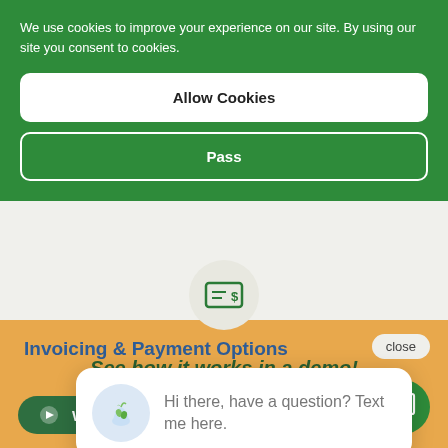We use cookies to improve your experience on our site. By using our site you consent to cookies.
Allow Cookies
Pass
[Figure (illustration): Invoice/payment icon in a circle]
Invoicing & Payment Options
close
[Figure (illustration): Chat popup with plant avatar icon saying: Hi there, have a question? Text me here.]
See how it works in a demo!
Watch Now
[Figure (illustration): Green circular chat FAB button]